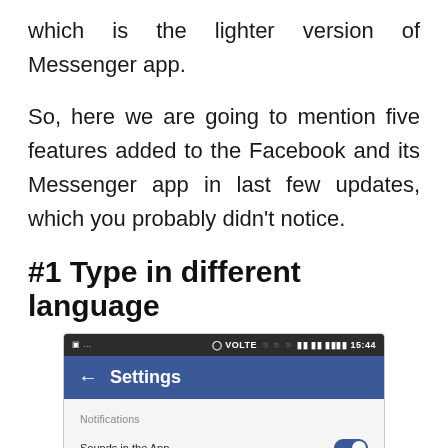which is the lighter version of Messenger app.
So, here we are going to mention five features added to the Facebook and its Messenger app in last few updates, which you probably didn't notice.
#1 Type in different language
[Figure (screenshot): Screenshot of a mobile phone Settings screen showing a dark status bar at top, a blue Settings header with back arrow, and a list of settings including Notifications label, Sounds in the App with a blue toggle switched on, and Continuous Contacts Upload with a grey toggle switched off.]